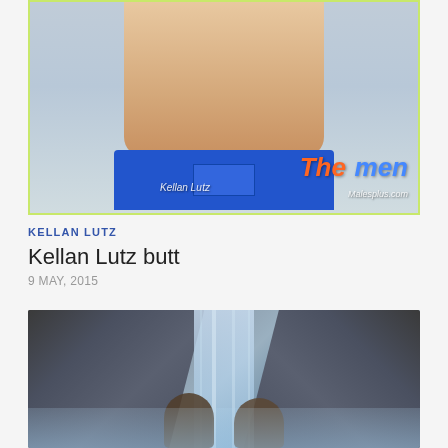[Figure (photo): Photo of Kellan Lutz shirtless in blue swim trunks on a beach, with 'The Men' watermark overlay and text reading 'Kellan Lutz' and 'Malesplus.com']
KELLAN LUTZ
Kellan Lutz butt
9 MAY, 2015
[Figure (photo): Photo of two people standing in front of a large waterfall flowing over dark rocks]